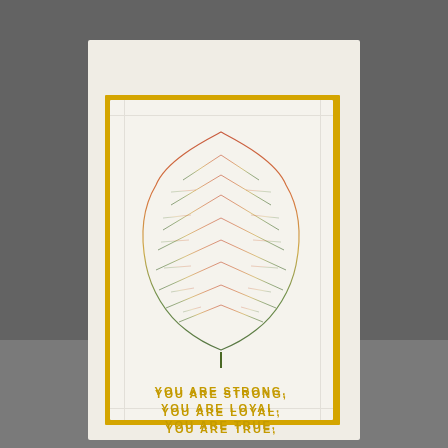Crushed Curry
[Figure (photo): A handmade greeting card featuring a detailed botanical leaf print with gradient coloring from orange-red at the top to green at the bottom, mounted on a yellow/gold border, placed on a white card base. The card sits on a dark grey background.]
YOU ARE STRONG,
YOU ARE LOYAL,
YOU ARE TRUE,